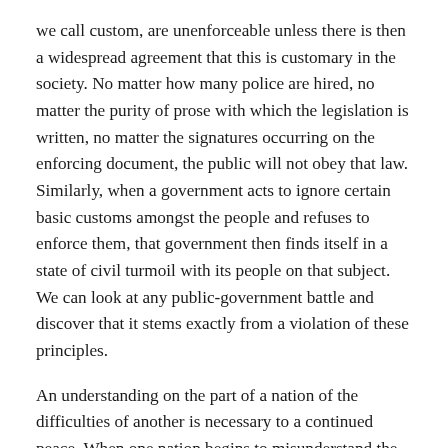we call custom, are unenforceable unless there is then a widespread agreement that this is customary in the society. No matter how many police are hired, no matter the purity of prose with which the legislation is written, no matter the signatures occurring on the enforcing document, the public will not obey that law. Similarly, when a government acts to ignore certain basic customs amongst the people and refuses to enforce them, that government then finds itself in a state of civil turmoil with its people on that subject. We can look at any public-government battle and discover that it stems exactly from a violation of these principles.
An understanding on the part of a nation of the difficulties of another is necessary to a continued peace. When one nation begins to misunderstand the motives and justices conceived necessary by another nation, stress sets up which eventually leads to war, all too often.
Whenever there is an excessive commotion amongst a people against its government, the government is then invited to act as an opponent to the people. If a government is acting towards its people as though it were an opponent of the people and not a member of the team, it